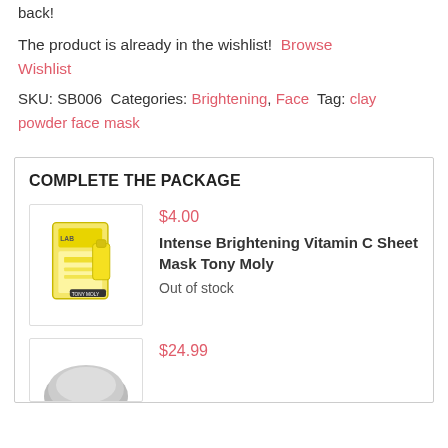back!
The product is already in the wishlist! Browse Wishlist
SKU: SB006 Categories: Brightening, Face Tag: clay powder face mask
COMPLETE THE PACKAGE
$4.00
Intense Brightening Vitamin C Sheet Mask Tony Moly
Out of stock
$24.99